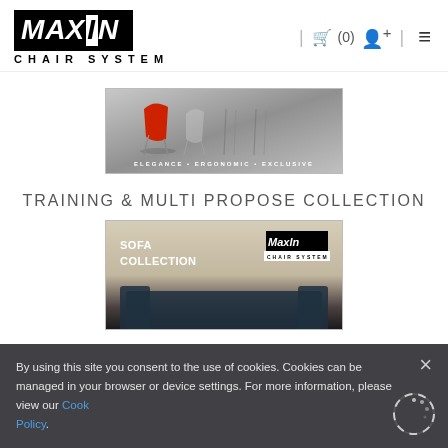MaxIn Chair System - navigation header with cart (0), user icon, and menu icon
[Figure (photo): Hero banner image showing a red chair against a grey background with text: ELEGANCE • ERGONOMIC • EXCLUSIVE]
TRAINING & MULTI PROPOSE COLLECTION
[Figure (photo): Sofa Collection banner with MaxIn Chair System logo, showing SOFA COLLECTION text on beige/tan background fading to dark at bottom]
By using this site you consent to the use of cookies. Cookies can be managed in your browser or device settings. For more information, please view our Cookie Policy.